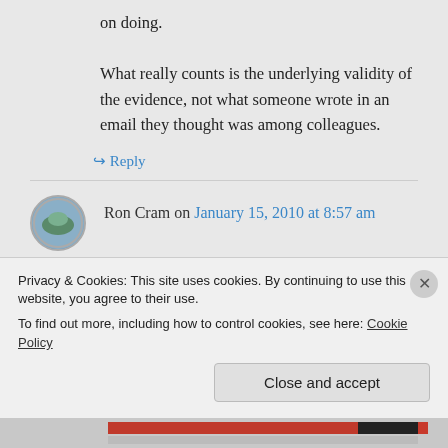on doing.
What really counts is the underlying validity of the evidence, not what someone wrote in an email they thought was among colleagues.
↳ Reply
Ron Cram on January 15, 2010 at 8:57 am
Privacy & Cookies: This site uses cookies. By continuing to use this website, you agree to their use.
To find out more, including how to control cookies, see here: Cookie Policy
Close and accept